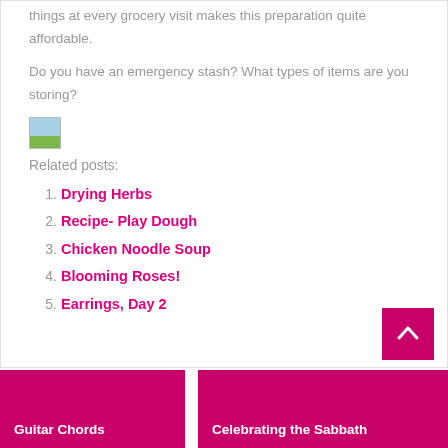things at every grocery visit makes this preparation quite affordable.
Do you have an emergency stash? What types of items are you storing?
[Figure (photo): Small broken/placeholder image icon]
Related posts:
Drying Herbs
Recipe- Play Dough
Chicken Noodle Soup
Blooming Roses!
Earrings, Day 2
Guitar Chords   Celebrating the Sabbath